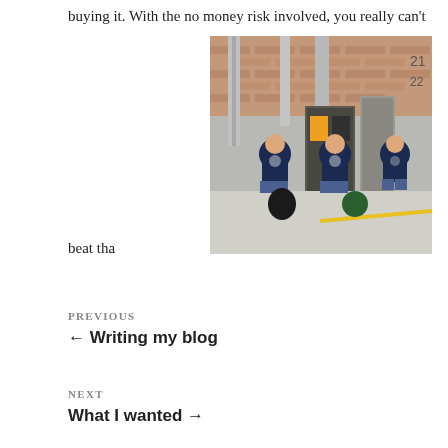buying it. With the no money risk involved, you really can't
[Figure (photo): Workers in navy blue uniforms kneeling on a warehouse floor working on industrial HVAC or mechanical equipment, with metal ductwork and brick walls visible in the background.]
beat tha
PREVIOUS
← Writing my blog
NEXT
What I wanted →